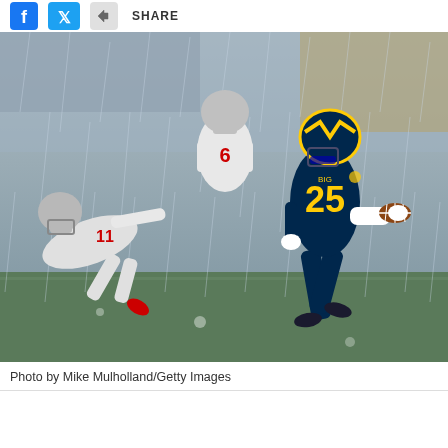SHARE
[Figure (photo): A Michigan Wolverines running back wearing jersey number 25 in navy and gold uniform runs with the football in the rain, evading a tackle attempt by Ohio State Buckeyes defender number 11 in white uniform, with another Ohio State player visible in the background. The game is played in wet, rainy conditions.]
Photo by Mike Mulholland/Getty Images